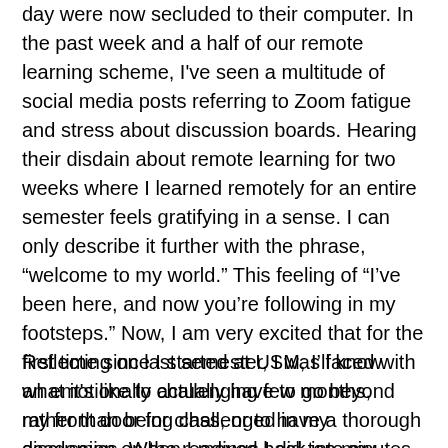day were now secluded to their computer. In the past week and a half of our remote learning scheme, I've seen a multitude of social media posts referring to Zoom fatigue and stress about discussion boards. Hearing their disdain about remote learning for two weeks where I learned remotely for an entire semester feels gratifying in a sense. I can only describe it further with the phrase, “welcome to my world.” This feeling of “I’ve been here, and now you’re following in my footsteps.” Now, I am very excited that for the first time since I started at USM, I’ll know what it’s like to actually have to go beyond my front door for class, or to have a thorough discussion on the readings I did ten minutes before class in real-time.
Reflecting on last semester, I was faced with an emotionally challenging few months, rather than being challenged in my academics. When I moved back into my room on campus, I